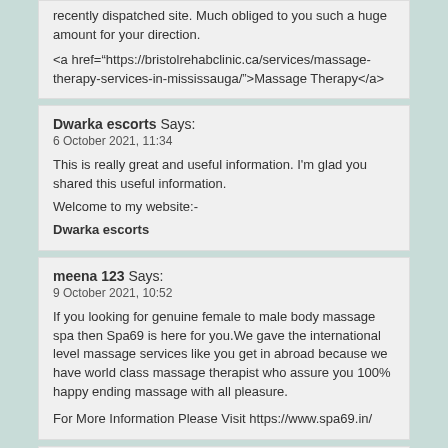recently dispatched site. Much obliged to you such a huge amount for your direction.

<a href="https://bristolrehabclinic.ca/services/massage-therapy-services-in-mississauga/">Massage Therapy</a>
Dwarka escorts Says:
6 October 2021, 11:34

This is really great and useful information. I'm glad you shared this useful information.
Welcome to my website:-
Dwarka escorts
meena 123 Says:
9 October 2021, 10:52

If you looking for genuine female to male body massage spa then Spa69 is here for you.We gave the international level massage services like you get in abroad because we have world class massage therapist who assure you 100% happy ending massage with all pleasure.

For More Information Please Visit https://www.spa69.in/
meena 123 Says:
9 October 2021, 10:53

If you looking for genuine female to male body massage spa then Spa69 is here for you.We gave the international level massage services like you get in abroad because we have world class massage therapist who assure you 100% happy ending massage with all pleasure.

For More Information Please Visit https://www.spa69.in/